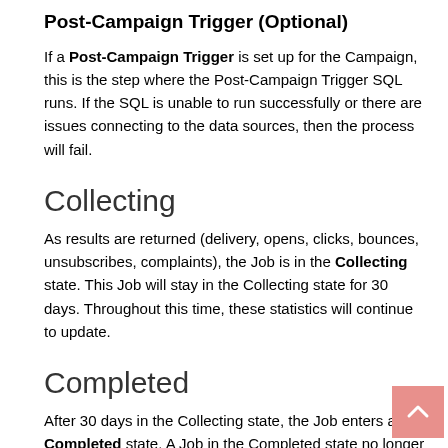Post-Campaign Trigger (Optional)
If a Post-Campaign Trigger is set up for the Campaign, this is the step where the Post-Campaign Trigger SQL runs. If the SQL is unable to run successfully or there are issues connecting to the data sources, then the process will fail.
Collecting
As results are returned (delivery, opens, clicks, bounces, unsubscribes, complaints), the Job is in the Collecting state. This Job will stay in the Collecting state for 30 days. Throughout this time, these statistics will continue to update.
Completed
After 30 days in the Collecting state, the Job enters a Completed state. A Job in the Completed state no longer